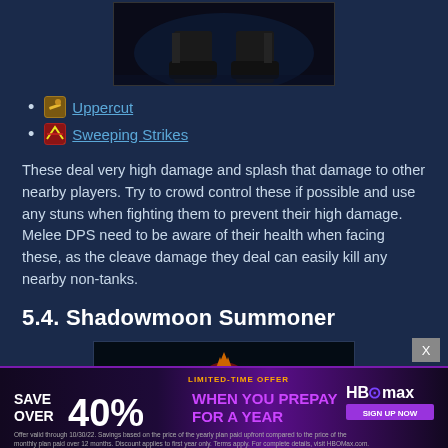[Figure (screenshot): Dark game screenshot showing feet/boots of a character against a blue-tinted background]
Uppercut
Sweeping Strikes
These deal very high damage and splash that damage to other nearby players. Try to crowd control these if possible and use any stuns when fighting them to prevent their high damage. Melee DPS need to be aware of their health when facing these, as the cleave damage they deal can easily kill any nearby non-tanks.
5.4. Shadowmoon Summoner
[Figure (screenshot): Game screenshot of a large orc-like Shadowmoon Summoner character in colorful armor standing in a dungeon environment]
[Figure (infographic): HBO Max advertisement: LIMITED-TIME OFFER SAVE OVER 40% WHEN YOU PREPAY FOR A YEAR with fine print]